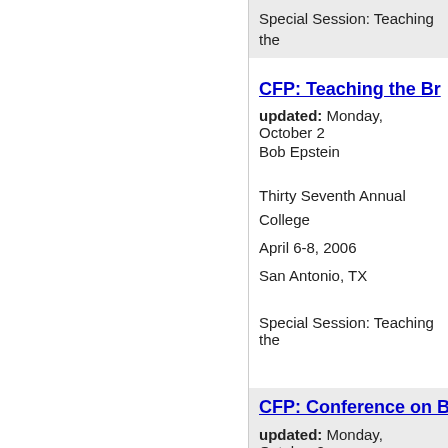Special Session: Teaching the
CFP: Teaching the Br
updated: Monday, October 2
Bob Epstein
Thirty Seventh Annual College
April 6-8, 2006
San Antonio, TX
Special Session: Teaching the
CFP: Conference on B
updated: Monday, October 2
Ron Kates
Call for Papers: Eleventh Conf